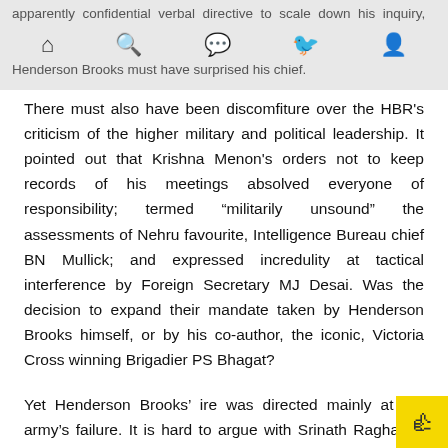apparently confidential verbal directive to scale down his inquiry, Henderson Brooks must have surprised his chief.
There must also have been discomfiture over the HBR's criticism of the higher military and political leadership. It pointed out that Krishna Menon's orders not to keep records of his meetings absolved everyone of responsibility; termed “militarily unsound” the assessments of Nehru favourite, Intelligence Bureau chief BN Mullick; and expressed incredulity at tactical interference by Foreign Secretary MJ Desai. Was the decision to expand their mandate taken by Henderson Brooks himself, or by his co-author, the iconic, Victoria Cross winning Brigadier PS Bhagat?
Yet Henderson Brooks’ ire was directed mainly at the army’s failure. It is hard to argue with Srinath Raghavan who says, “(T)he army also bore an institutional responsibility — one that cannot be attributed merely to a few bad generals. The simple fact is that, from 19